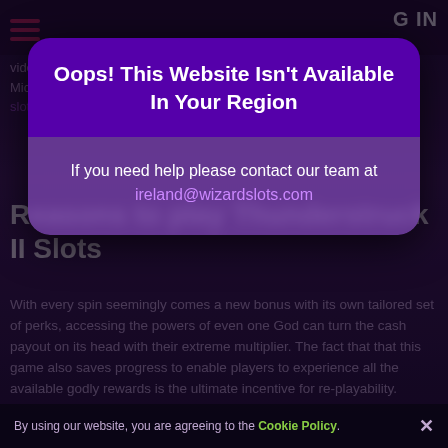[Figure (screenshot): Background of a gambling/casino website showing navigation, partial article text about Thunderstruck II Slots, dimmed behind a modal overlay]
Oops! This Website Isn't Available In Your Region
If you need help please contact our team at ireland@wizardslots.com
Reasons to play Thunderstruck II Slots
With every spin seemingly comes a new bonus with its own tailored set of perks, accessing the powers of even one God can turn the cash payout on its head with their extreme multiplier. The fact that that this game also saves progress to enable players to experience all the available godly rewards is the ultimate incentive for re-playability.
By using our website, you are agreeing to the Cookie Policy.